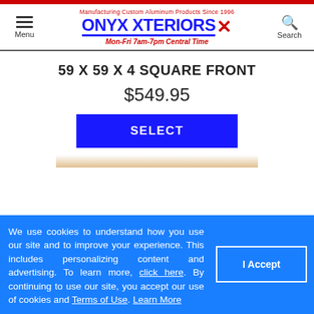[Figure (logo): Onyx Xteriors logo with red X mark and tagline Manufacturing Custom Aluminum Products Since 1996, Mon-Fri 7am-7pm Central Time]
59 X 59 X 4 SQUARE FRONT
$549.95
SELECT
We use cookies to understand how you use our site and to improve your experience. This includes personalizing content and advertising. To learn more, click here. By continuing to use our site, you accept our use of cookies and Terms of Use. Learn More
I Accept